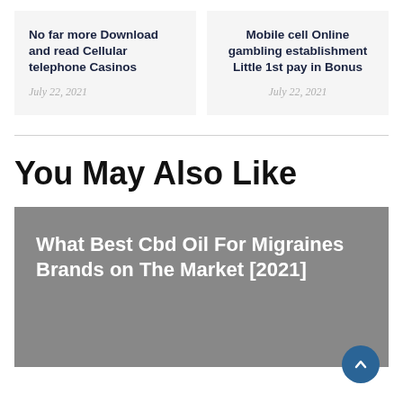No far more Download and read Cellular telephone Casinos
July 22, 2021
Mobile cell Online gambling establishment Little 1st pay in Bonus
July 22, 2021
You May Also Like
What Best Cbd Oil For Migraines Brands on The Market [2021]